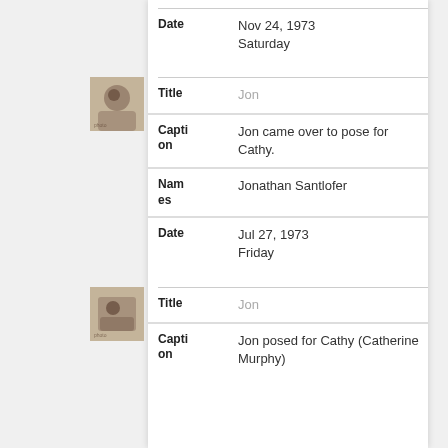| Field | Value |
| --- | --- |
| Date | Nov 24, 1973
Saturday |
[Figure (photo): Small sepia thumbnail of a person posing, first entry]
| Field | Value |
| --- | --- |
| Title | Jon |
| Caption | Jon came over to pose for Cathy. |
| Names | Jonathan Santlofer |
| Date | Jul 27, 1973
Friday |
[Figure (photo): Small sepia thumbnail of a person posing, second entry]
| Field | Value |
| --- | --- |
| Title | Jon |
| Caption | Jon posed for Cathy (Catherine Murphy) |